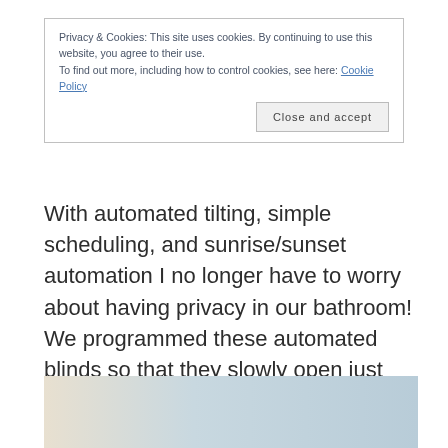Privacy & Cookies: This site uses cookies. By continuing to use this website, you agree to their use.
To find out more, including how to control cookies, see here: Cookie Policy
Close and accept
With automated tilting, simple scheduling, and sunrise/sunset automation I no longer have to worry about having privacy in our bathroom! We programmed these automated blinds so that they slowly open just after sunrise and slowly close around sunset.
[Figure (photo): Photo of a bathroom window with automated blinds, showing light blue/grey tones]